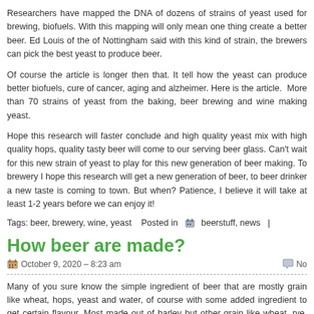Researchers have mapped the DNA of dozens of strains of yeast used for brewing, biofuels. With this mapping will only mean one thing create a better beer. Ed Louis of the of Nottingham said with this kind of strain, the brewers can pick the best yeast to produce beer.
Of course the article is longer then that. It tell how the yeast can produce better biofuels, cure of cancer, aging and alzheimer. Here is the article. More than 70 strains of yeast from the baking, beer brewing and wine making yeast.
Hope this research will faster conclude and high quality yeast mix with high quality hops, quality tasty beer will come to our serving beer glass. Can't wait for this new strain of yeast to play for this new generation of beer making. To brewery I hope this research will get a new generation of beer, to beer drinker a new taste is coming to town. But when? Patience, I believe it will take at least 1-2 years before we can enjoy it!
Tags: beer, brewery, wine, yeast   Posted in   beerstuff, news  |
How beer are made?
October 9, 2020 – 8:23 am
Many of you sure know the simple ingredient of beer that are mostly grain like wheat, hops, yeast and water, of course with some added ingredient to get certain flavour. Most made out of barley but other grain like wheat, rye, oats, rice, spelt and etc. This grain are those who have healthy diet, as this are the same grain in their cereal. So why don't just